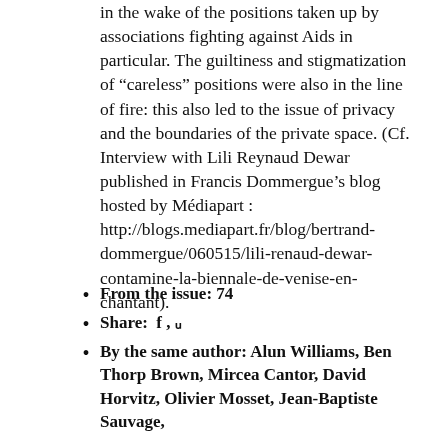in the wake of the positions taken up by associations fighting against Aids in particular. The guiltiness and stigmatization of “careless” positions were also in the line of fire: this also led to the issue of privacy and the boundaries of the private space. (Cf. Interview with Lili Reynaud Dewar published in Francis Dommergue’s blog hosted by Médiapart : http://blogs.mediapart.fr/blog/bertrand-dommergue/060515/lili-renaud-dewar-contamine-la-biennale-de-venise-en-chantant).
From the issue: 74
Share:  f , ᵤ
By the same author: Alun Williams, Ben Thorp Brown, Mircea Cantor, David Horvitz, Olivier Mosset, Jean-Baptiste Sauvage,